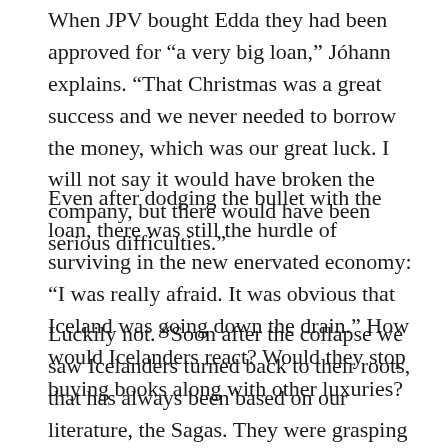When JPV bought Edda they had been approved for “a very big loan,” Jóhann explains. “That Christmas was a great success and we never needed to borrow the money, which was our great luck. I will not say it would have broken the company, but there would have been serious difficulties.”
Even after dodging the bullet with the loan, there was still the hurdle of surviving in the new enervated economy: “I was really afraid. It was obvious that Iceland was going down the drain.” How would Icelanders react? Would they stop buying books along with other luxuries?
Luckily not. “Soon after the collapse we saw Icelanders turned back to their roots, that has always been based on our literature, the Sagas. They were grasping for something to hold onto and that was our literature. It was a huge relief.”